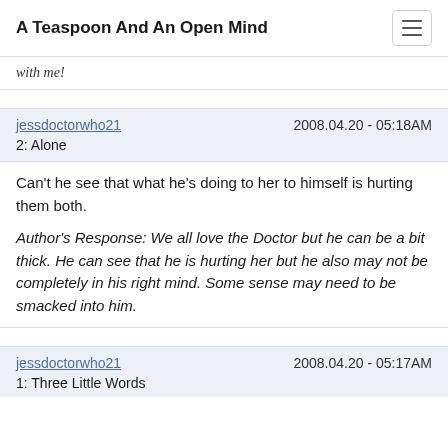A Teaspoon And An Open Mind
with me!
jessdoctorwho21   2008.04.20 - 05:18AM
2: Alone
Can't he see that what he's doing to her to himself is hurting them both.

Author's Response: We all love the Doctor but he can be a bit thick. He can see that he is hurting her but he also may not be completely in his right mind. Some sense may need to be smacked into him.
jessdoctorwho21   2008.04.20 - 05:17AM
1: Three Little Words